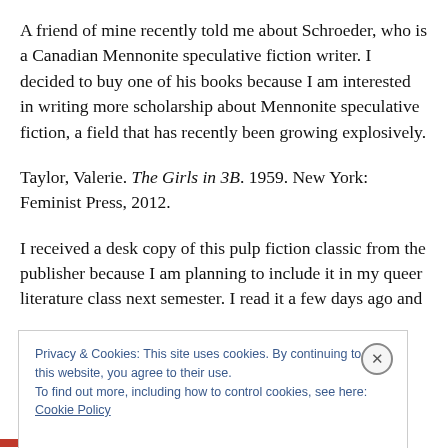A friend of mine recently told me about Schroeder, who is a Canadian Mennonite speculative fiction writer. I decided to buy one of his books because I am interested in writing more scholarship about Mennonite speculative fiction, a field that has recently been growing explosively.
Taylor, Valerie. The Girls in 3B. 1959. New York: Feminist Press, 2012.
I received a desk copy of this pulp fiction classic from the publisher because I am planning to include it in my queer literature class next semester. I read it a few days ago and
Privacy & Cookies: This site uses cookies. By continuing to use this website, you agree to their use.
To find out more, including how to control cookies, see here: Cookie Policy
Close and accept